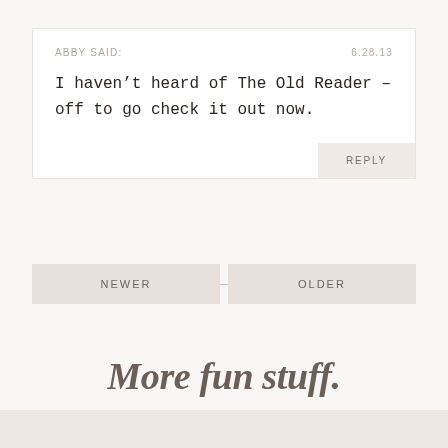ABBY SAID:
6.28.13
I haven’t heard of The Old Reader – off to go check it out now.
REPLY
NEWER
OLDER
More fun stuff.